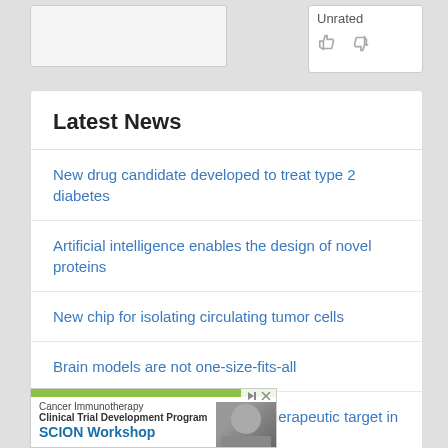[Figure (screenshot): Top portion of a web page showing partial profile card on left and an 'Unrated' rating widget with thumbs up/down icons on right]
Latest News
New drug candidate developed to treat type 2 diabetes
Artificial intelligence enables the design of novel proteins
New chip for isolating circulating tumor cells
Brain models are not one-size-fits-all
A prognostic marker and potent therapeutic target in neuroblastoma identified
View all
[Figure (screenshot): Advertisement banner for Cancer Immunotherapy Clinical Trial Development Program - SCION Workshop, with green top bar and partial photo of a person]